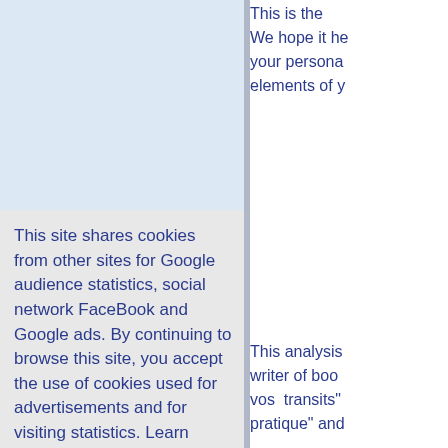This is the... We hope it he... your persona... elements of y...
This site shares cookies from other sites for Google audience statistics, social network FaceBook and Google ads. By continuing to browse this site, you accept the use of cookies used for advertisements and for visiting statistics. Learn more...
OK (accept and hide this banner)
This analysis... writer of boo... vos transits"... pratique" and...